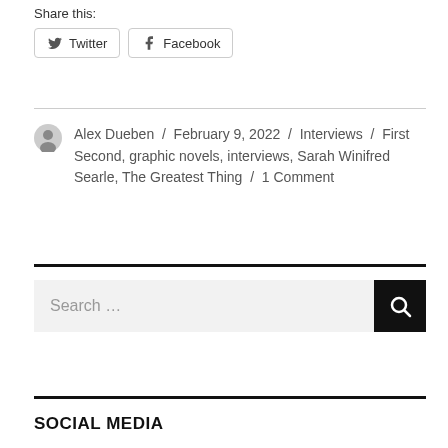Share this:
Twitter  Facebook
Alex Dueben / February 9, 2022 / Interviews / First Second, graphic novels, interviews, Sarah Winifred Searle, The Greatest Thing / 1 Comment
Search ...
SOCIAL MEDIA